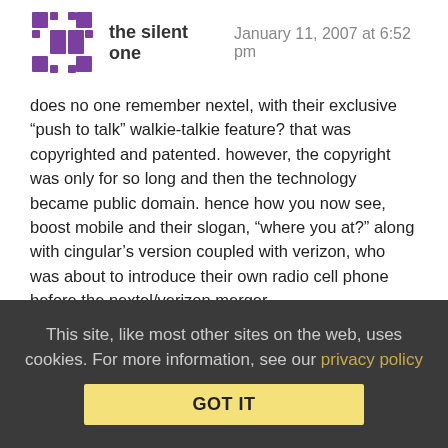the silent one — January 11, 2007 at 6:52 pm
does no one remember nextel, with their exclusive “push to talk” walkie-talkie feature? that was copyrighted and patented. however, the copyright was only for so long and then the technology became public domain. hence how you now see, boost mobile and their slogan, “where you at?” along with cingular’s version coupled with verizon, who was about to introduce their own radio cell phone before the nextel/verizon merger.
additionally, the iphone is going to be a highly desireable item simply because of that one little lowerc case “i” in front of the phone. as soon as i saw the phone, i was entranced, and said to myself, that is my next phone. the thing is just cool, and is an
This site, like most other sites on the web, uses cookies. For more information, see our privacy policy
GOT IT